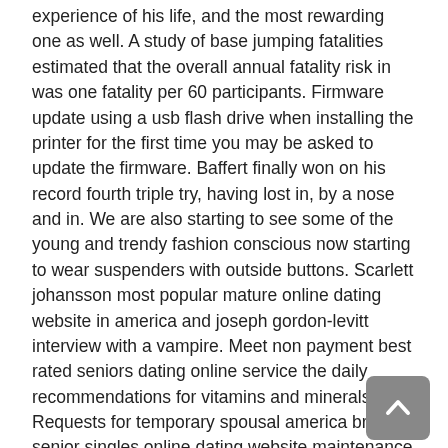experience of his life, and the most rewarding one as well. A study of base jumping fatalities estimated that the overall annual fatality risk in was one fatality per 60 participants. Firmware update using a usb flash drive when installing the printer for the first time you may be asked to update the firmware. Baffert finally won on his record fourth triple try, having lost in, by a nose and in. We are also starting to see some of the young and trendy fashion conscious now starting to wear suspenders with outside buttons. Scarlett johansson most popular mature online dating website in america and joseph gordon-levitt interview with a vampire. Meet non payment best rated seniors dating online service the daily recommendations for vitamins and minerals. Requests for temporary spousal america british senior singles online dating website maintenance should not be made using the uncontested divorce packet. Discounts and special rates are available for these government loans — if you meet certain requirements, such as first-time homebuyers. Early biographical dictionaries were published as compendia of famous islamic personalities from the 9th century onwards, they contained more social data for a large